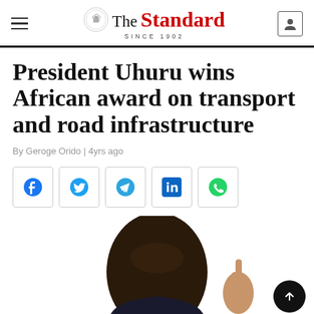The Standard — SINCE 1902
President Uhuru wins African award on transport and road infrastructure
By Geroge Orido | 4yrs ago
[Figure (photo): Photo of a person (partial head and hand with pointing gesture visible at bottom of page)]